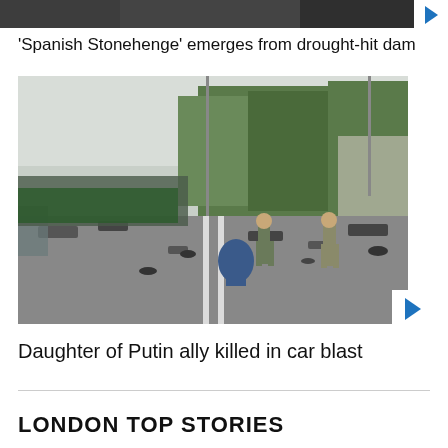[Figure (photo): Dark-toned top strip image, partially visible photo at top of page]
'Spanish Stonehenge' emerges from drought-hit dam
[Figure (photo): News video still showing soldiers/investigators on a road examining debris after a car blast, with trees and buildings in the background]
Daughter of Putin ally killed in car blast
LONDON TOP STORIES